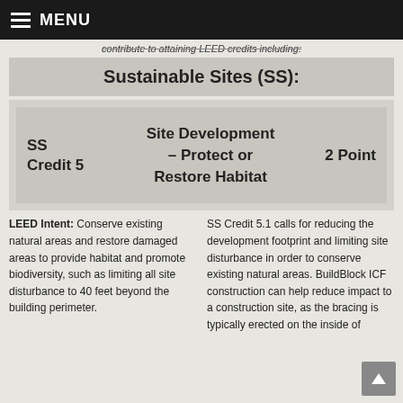MENU
contribute to attaining LEED credits including:
Sustainable Sites (SS):
| SS Credit 5 | Site Development – Protect or Restore Habitat | 2 Point |
| --- | --- | --- |
LEED Intent: Conserve existing natural areas and restore damaged areas to provide habitat and promote biodiversity, such as limiting all site disturbance to 40 feet beyond the building perimeter.
SS Credit 5.1 calls for reducing the development footprint and limiting site disturbance in order to conserve existing natural areas. BuildBlock ICF construction can help reduce impact to a construction site, as the bracing is typically erected on the inside of